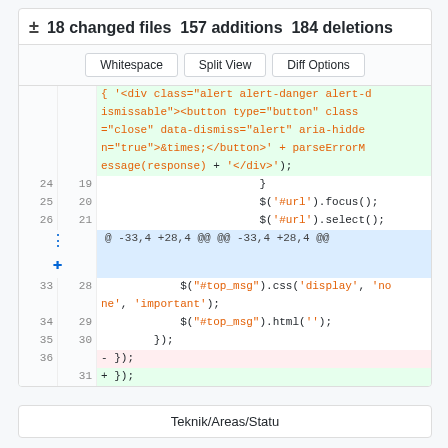± 18 changed files 157 additions 184 deletions
Whitespace | Split View | Diff Options
[Figure (screenshot): Git diff view showing code changes. Green highlighted block shows added HTML for alert div with button. Normal lines show lines 24-26 (19-21 new). Hunk header: @ -33,4 +28,4 @@ @@ -33,4 +28,4 @@. Lines 33-35 (28-30 new) show jQuery calls. Line 36 deleted: - });  Line 31 added: + });]
Teknik/Areas/Statu